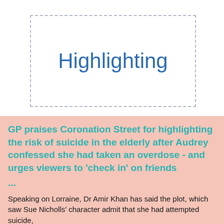Highlighting
GP praises Coronation Street for highlighting the risk of suicide in the elderly after Audrey confessed she had taken an overdose - and urges viewers to 'check in' on friends ...
Speaking on Lorraine, Dr Amir Khan has said the plot, which saw Sue Nicholls' character admit that she had attempted suicide,